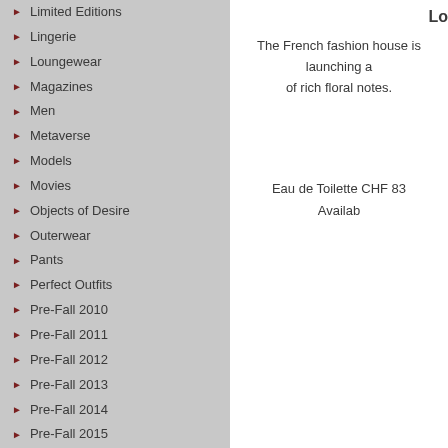Limited Editions
Lingerie
Loungewear
Magazines
Men
Metaverse
Models
Movies
Objects of Desire
Outerwear
Pants
Perfect Outfits
Pre-Fall 2010
Pre-Fall 2011
Pre-Fall 2012
Pre-Fall 2013
Pre-Fall 2014
Pre-Fall 2015
Pre-Fall 2016
Pre-Fall 2017
Pre-Fall 2018
Pre-fall 2019
Pre-fall 2020
Lo
The French fashion house is launching a of rich floral notes.
Eau de Toilette CHF 83 Availab